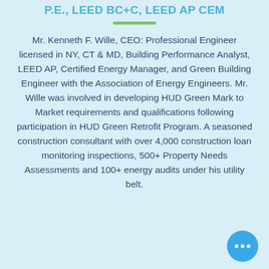P.E., LEED BC+C, LEED AP CEM
Mr. Kenneth F. Wille, CEO: Professional Engineer licensed in NY, CT & MD, Building Performance Analyst, LEED AP, Certified Energy Manager, and Green Building Engineer with the Association of Energy Engineers. Mr. Wille was involved in developing HUD Green Mark to Market requirements and qualifications following participation in HUD Green Retrofit Program. A seasoned construction consultant with over 4,000 construction loan monitoring inspections, 500+ Property Needs Assessments and 100+ energy audits under his utility belt.